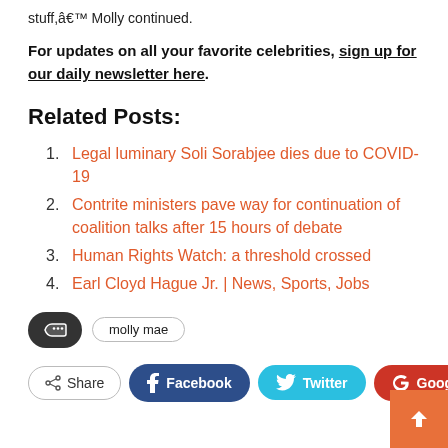stuff,â€™ Molly continued.
For updates on all your favorite celebrities, sign up for our daily newsletter here.
Related Posts:
Legal luminary Soli Sorabjee dies due to COVID-19
Contrite ministers pave way for continuation of coalition talks after 15 hours of debate
Human Rights Watch: a threshold crossed
Earl Cloyd Hague Jr. | News, Sports, Jobs